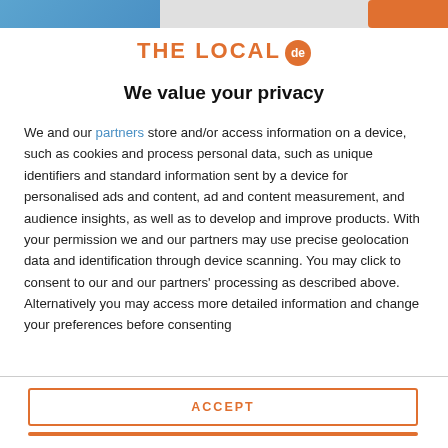[Figure (screenshot): Top navigation bar strip with blue element on left and orange button on right]
THE LOCAL de
We value your privacy
We and our partners store and/or access information on a device, such as cookies and process personal data, such as unique identifiers and standard information sent by a device for personalised ads and content, ad and content measurement, and audience insights, as well as to develop and improve products. With your permission we and our partners may use precise geolocation data and identification through device scanning. You may click to consent to our and our partners' processing as described above. Alternatively you may access more detailed information and change your preferences before consenting
ACCEPT
MORE OPTIONS